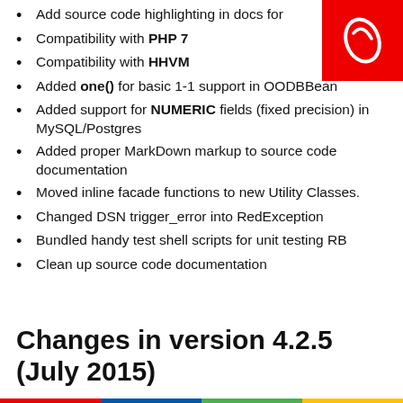[Figure (logo): Red square badge with white bean/leaf logo]
Add source code highlighting in docs for
Compatibility with PHP 7
Compatibility with HHVM
Added one() for basic 1-1 support in OODBBean
Added support for NUMERIC fields (fixed precision) in MySQL/Postgres
Added proper MarkDown markup to source code documentation
Moved inline facade functions to new Utility Classes.
Changed DSN trigger_error into RedException
Bundled handy test shell scripts for unit testing RB
Clean up source code documentation
Changes in version 4.2.5 (July 2015)